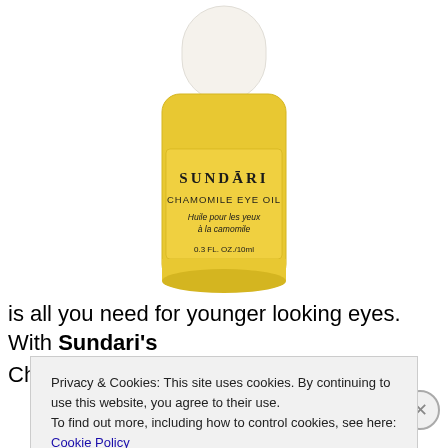[Figure (photo): Product photo of Sundari Chamomile Eye Oil bottle - yellow glass bottle with white cap, label reads SUNDARI CHAMOMILE EYE OIL, Huile pour les yeux à la camomile, 0.3 FL. OZ./10ml]
is all you need for younger looking eyes. With Sundari's
Chamomile Eye Oil...
Privacy & Cookies: This site uses cookies. By continuing to use this website, you agree to their use.
To find out more, including how to control cookies, see here: Cookie Policy
Close and accept